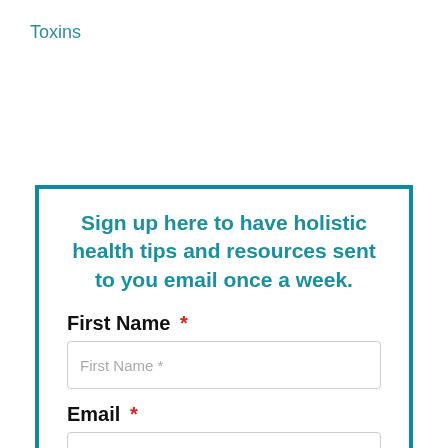Toxins
Sign up here to have holistic health tips and resources sent to you email once a week.
First Name *
First Name *
Email *
Email *